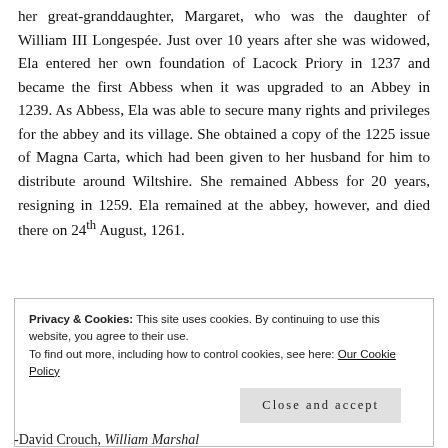her great-granddaughter, Margaret, who was the daughter of William III Longespée. Just over 10 years after she was widowed, Ela entered her own foundation of Lacock Priory in 1237 and became the first Abbess when it was upgraded to an Abbey in 1239. As Abbess, Ela was able to secure many rights and privileges for the abbey and its village. She obtained a copy of the 1225 issue of Magna Carta, which had been given to her husband for him to distribute around Wiltshire. She remained Abbess for 20 years, resigning in 1259. Ela remained at the abbey, however, and died there on 24th August, 1261.
Privacy & Cookies: This site uses cookies. By continuing to use this website, you agree to their use.
To find out more, including how to control cookies, see here: Our Cookie Policy
Close and accept
-David Crouch, William Marshal